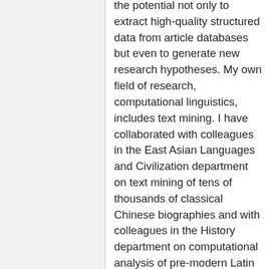the potential not only to extract high-quality structured data from article databases but even to generate new research hypotheses. My own field of research, computational linguistics, includes text mining. I have collaborated with colleagues in the East Asian Languages and Civilization department on text mining of tens of thousands of classical Chinese biographies and with colleagues in the History department on computational analysis of pre-modern Latin texts. Performing similar analyses on the current research literature, however, is encumbered by proscriptions of copyright and contract because the dominant